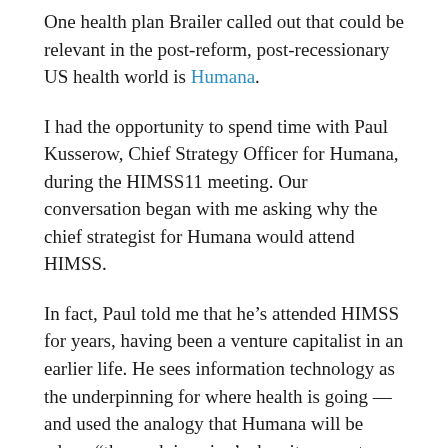One health plan Brailer called out that could be relevant in the post-reform, post-recessionary US health world is Humana.
I had the opportunity to spend time with Paul Kusserow, Chief Strategy Officer for Humana, during the HIMSS11 meeting. Our conversation began with me asking why the chief strategist for Humana would attend HIMSS.
In fact, Paul told me that he’s attended HIMSS for years, having been a venture capitalist in an earlier life. He sees information technology as the underpinning for where health is going — and used the analogy that Humana will be where “the puck is going’ when it comes to information-based health for its enrollees (an